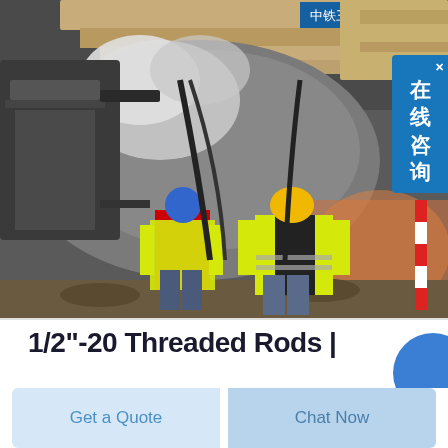[Figure (photo): Workers in yellow high-visibility vests and hard hats operating drilling/boring equipment inside a tunnel construction site. Heavy machinery visible in the background with rocky tunnel walls. A Chinese chat popup overlay is visible in the top-right corner.]
1/2"-20 Threaded Rods |
Get a Quote
Chat Now